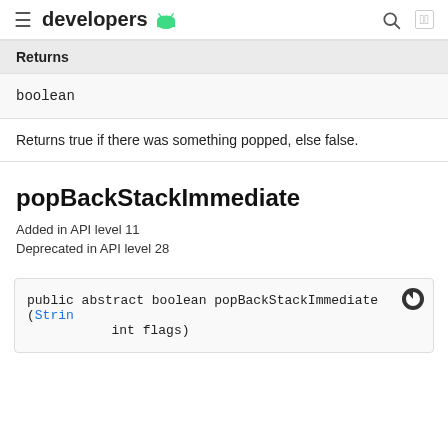developers
| Returns |
| --- |
| boolean |
Returns true if there was something popped, else false.
popBackStackImmediate
Added in API level 11
Deprecated in API level 28
public abstract boolean popBackStackImmediate (String name, int flags)